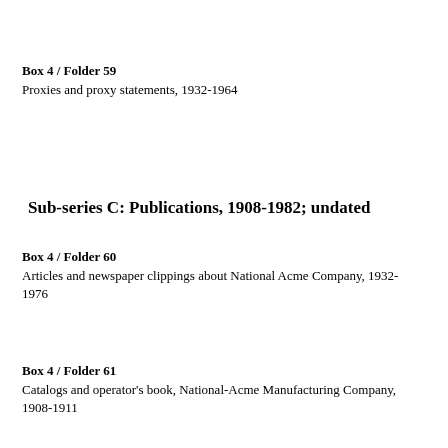Box 4 / Folder 59
Proxies and proxy statements, 1932-1964
Sub-series C: Publications, 1908-1982; undated
Box 4 / Folder 60
Articles and newspaper clippings about National Acme Company, 1932-1976
Box 4 / Folder 61
Catalogs and operator's book, National-Acme Manufacturing Company, 1908-1911